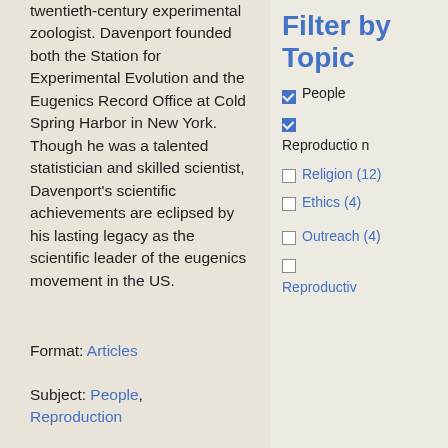twentieth-century experimental zoologist. Davenport founded both the Station for Experimental Evolution and the Eugenics Record Office at Cold Spring Harbor in New York. Though he was a talented statistician and skilled scientist, Davenport's scientific achievements are eclipsed by his lasting legacy as the scientific leader of the eugenics movement in the US.
Format: Articles
Subject: People, Reproduction
Filter by Topic
People [checked]
Reproduction [checked]
Religion (12)
Ethics (4)
Outreach (4)
Reproductive...